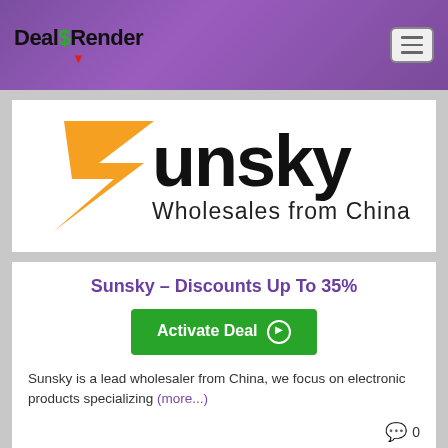Deal$Render
[Figure (logo): Sunsky Wholesales from China logo — orange stylized S with lightning bolt graphic and bold black 'unsky' text, subtitle 'Wholesales from China']
Sunsky – Discounts Up To 35%
Activate Deal ➡
Sunsky is a lead wholesaler from China, we focus on electronic products specializing (more...)
Sunsky, Accessories, Electronics, Fashion, Marketplace
Worldwide
0